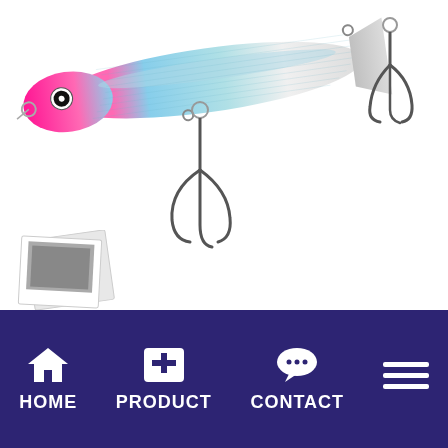[Figure (photo): A fishing lure (popper/surface lure) with pink/magenta head, holographic blue-silver body, and treble hooks. White background.]
[Figure (photo): A polaroid-style photo placeholder icon showing a small grey square photo frame.]
[Figure (photo): Deep red/crimson textured background panel with text '2017 PRODUCT CATALOG' in small caps at upper right.]
2017 PRODUCT CATALOG
HOME  PRODUCT  CONTACT